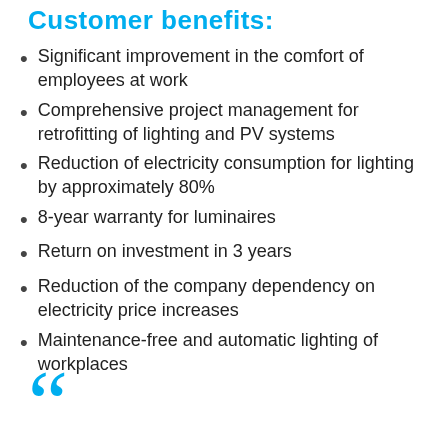Customer benefits:
Significant improvement in the comfort of employees at work
Comprehensive project management for retrofitting of lighting and PV systems
Reduction of electricity consumption for lighting by approximately 80%
8-year warranty for luminaires
Return on investment in 3 years
Reduction of the company dependency on electricity price increases
Maintenance-free and automatic lighting of workplaces
[Figure (illustration): Large cyan quotation mark symbol at bottom left of page]